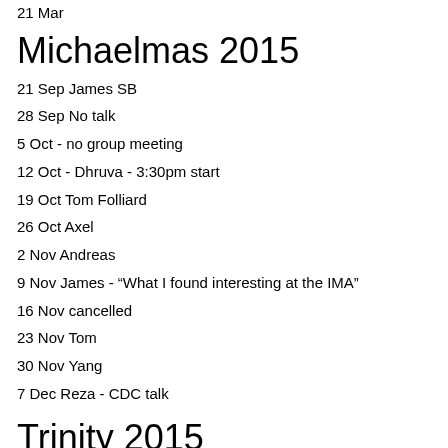21 Mar
Michaelmas 2015
21 Sep James SB
28 Sep No talk
5 Oct - no group meeting
12 Oct - Dhruva - 3:30pm start
19 Oct Tom Folliard
26 Oct Axel
2 Nov Andreas
9 Nov James - "What I found interesting at the IMA"
16 Nov cancelled
23 Nov Tom
30 Nov Yang
7 Dec Reza - CDC talk
Trinity 2015